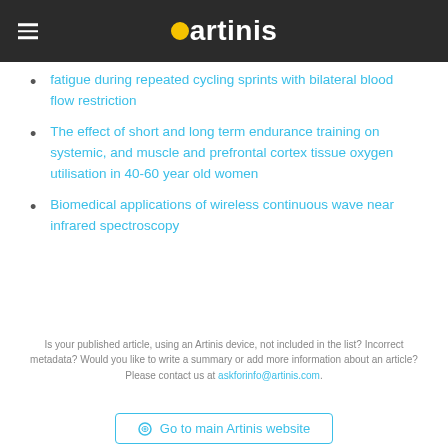artinis
fatigue during repeated cycling sprints with bilateral blood flow restriction
The effect of short and long term endurance training on systemic, and muscle and prefrontal cortex tissue oxygen utilisation in 40-60 year old women
Biomedical applications of wireless continuous wave near infrared spectroscopy
Is your published article, using an Artinis device, not included in the list? Incorrect metadata? Would you like to write a summary or add more information about an article? Please contact us at askforinfo@artinis.com.
Go to main Artinis website